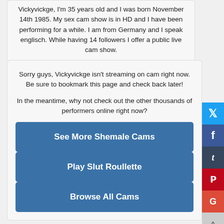Vickyvickge, I'm 35 years old and I was born November 14th 1985. My sex cam show is in HD and I have been performing for a while. I am from Germany and I speak englisch. While having 14 followers I offer a public live cam show.
Sorry guys, Vickyvickge isn't streaming on cam right now. Be sure to bookmark this page and check back later!

In the meantime, why not check out the other thousands of performers online right now?
See More Shemale Cams
Play Slut Roullette
Browse All Cams